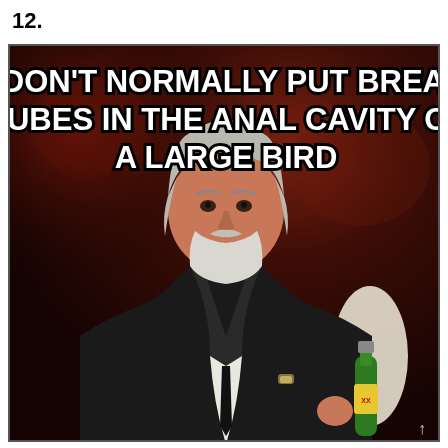12.
[Figure (photo): Internet meme image featuring a distinguished older man with gray hair and beard wearing a dark pinstripe suit, holding a green beer bottle, seated against a dark red/brown background. Overlaid white bold text reads: I DON'T NORMALLY PUT BREAD CUBES IN THE ANAL CAVITY OF A LARGE BIRD]